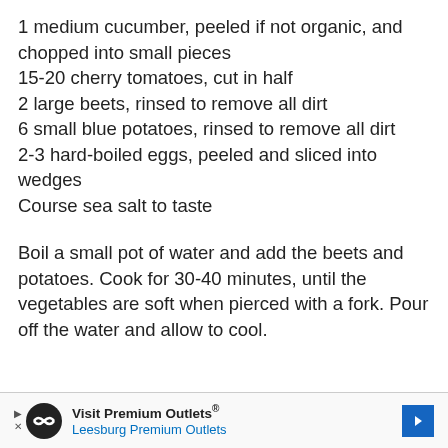1 medium cucumber, peeled if not organic, and chopped into small pieces
15-20 cherry tomatoes, cut in half
2 large beets, rinsed to remove all dirt
6 small blue potatoes, rinsed to remove all dirt
2-3 hard-boiled eggs, peeled and sliced into wedges
Course sea salt to taste
Boil a small pot of water and add the beets and potatoes. Cook for 30-40 minutes, until the vegetables are soft when pierced with a fork. Pour off the water and allow to cool.
[Figure (infographic): Advertisement banner for Visit Premium Outlets / Leesburg Premium Outlets with logo, navigation arrows, and blue diamond-shaped direction sign icon.]